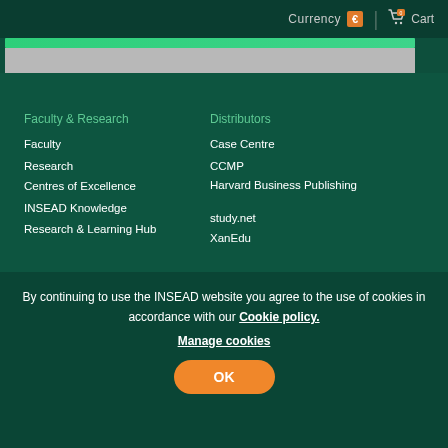Currency € | Cart
Faculty & Research
Faculty
Research
Centres of Excellence
INSEAD Knowledge
Research & Learning Hub
Distributors
Case Centre
CCMP
Harvard Business Publishing
study.net
XanEdu
Social
[Figure (logo): Social media icons: Instagram, Facebook, Twitter, YouTube, LinkedIn]
[Figure (logo): Alliance Sorbonne Université logo]
[Figure (logo): Wharton University of Pennsylvania logo]
[Figure (logo): Tsinghua University logo]
By continuing to use the INSEAD website you agree to the use of cookies in accordance with our Cookie policy.
Manage cookies
OK